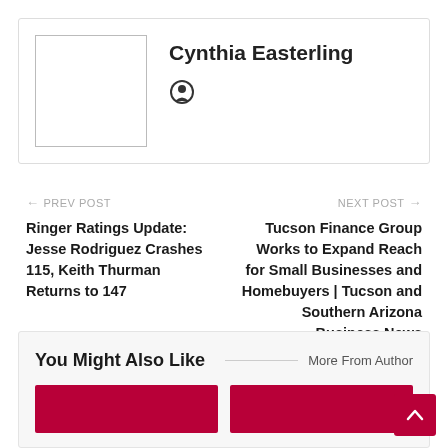Cynthia Easterling
[Figure (photo): Author avatar placeholder box]
PREV POST
Ringer Ratings Update: Jesse Rodriguez Crashes 115, Keith Thurman Returns to 147
NEXT POST
Tucson Finance Group Works to Expand Reach for Small Businesses and Homebuyers | Tucson and Southern Arizona Business News
You Might Also Like
More From Author